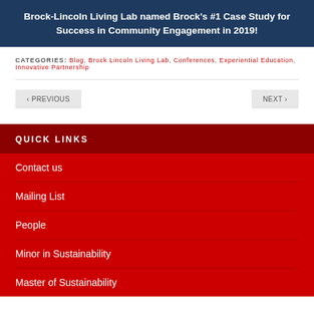Brock-Lincoln Living Lab named Brock's #1 Case Study for Success in Community Engagement in 2019!
CATEGORIES: Blog, Brock Lincoln Living Lab, Conferences, Experiential Education, Innovative Partnership
< PREVIOUS    NEXT >
QUICK LINKS
Contact us
Mailing List
People
Minor in Sustainability
Master of Sustainability